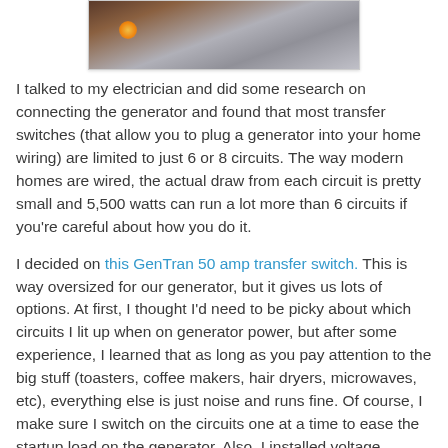[Figure (photo): Partial photo showing a dark background with orange/fire-like glow in the lower left area and gray smoky tones]
I talked to my electrician and did some research on connecting the generator and found that most transfer switches (that allow you to plug a generator into your home wiring) are limited to just 6 or 8 circuits.  The way modern homes are wired, the actual draw from each circuit is pretty small and 5,500 watts can run a lot more than 6 circuits if you're careful about how you do it.
I decided on this GenTran 50 amp transfer switch.  This is way oversized for our generator, but it gives us lots of options.  At first, I thought I'd need to be picky about which circuits I lit up when on generator power, but after some experience, I learned that as long as you pay attention to the big stuff (toasters, coffee makers, hair dryers, microwaves, etc), everything else is just noise and runs fine.  Of course, I make sure I switch on the circuits one at a time to ease the startup load on the generator.  Also, I installed voltage meters to go with the amp meters so I can watch the load levels.